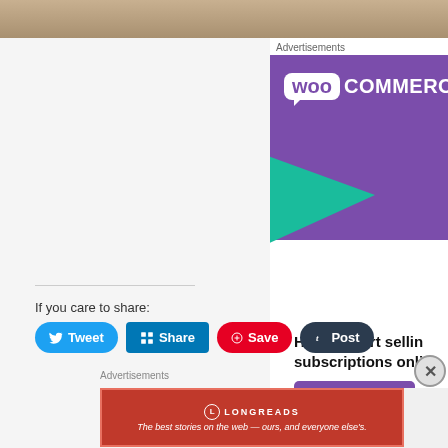[Figure (photo): Top strip of a sandy/rocky ground photo, partially visible]
Advertisements
[Figure (infographic): WooCommerce advertisement banner: purple background with WooCommerce logo, green triangle shape, text 'How to start selling subscriptions online', and a 'Start a new store' button]
If you care to share:
[Figure (infographic): Social sharing buttons: Tweet (Twitter/blue), Share (LinkedIn/blue), Save (Pinterest/red), Post (Tumblr/dark)]
Advertisements
[Figure (infographic): Longreads advertisement: red banner with Longreads logo and tagline 'The best stories on the web — ours, and everyone else's.']